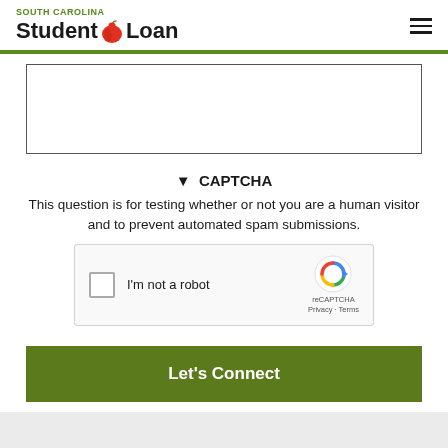SOUTH CAROLINA Student Loan
[Figure (screenshot): Empty text area input box with border]
▼ CAPTCHA
This question is for testing whether or not you are a human visitor and to prevent automated spam submissions.
[Figure (screenshot): reCAPTCHA widget with checkbox labeled I'm not a robot, reCAPTCHA logo, Privacy and Terms links]
Let's Connect